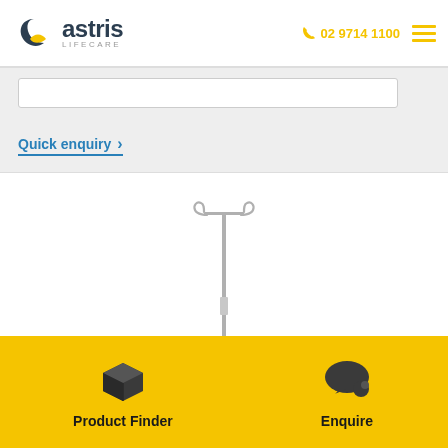astris Lifecare | 02 9714 1100
Quick enquiry >
[Figure (photo): IV drip stand / infusion pole with two hooks at the top, stainless steel, on white background]
Product Finder
Enquire